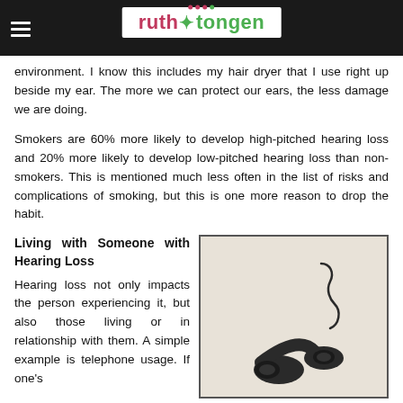ruth tongen
environment. I know this includes my hair dryer that I use right up beside my ear. The more we can protect our ears, the less damage we are doing.
Smokers are 60% more likely to develop high-pitched hearing loss and 20% more likely to develop low-pitched hearing loss than non-smokers. This is mentioned much less often in the list of risks and complications of smoking, but this is one more reason to drop the habit.
Living with Someone with Hearing Loss
Hearing loss not only impacts the person experiencing it, but also those living or in relationship with them. A simple example is telephone usage. If one's
[Figure (photo): A vintage telephone handset with a curled cord, photographed against a light beige background, inside a bordered box.]